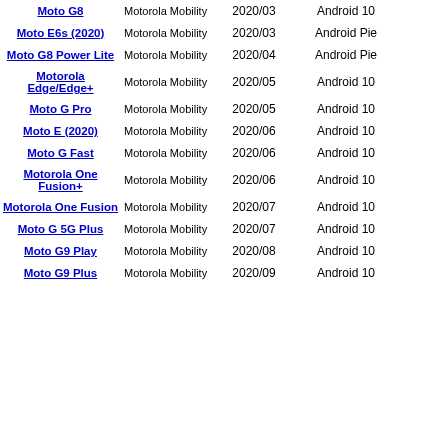| Device | Manufacturer | Date | OS | Ref |
| --- | --- | --- | --- | --- |
| Moto G8 | Motorola Mobility | 2020/03 | Android 10 | [605] |
| Moto E6s (2020) | Motorola Mobility | 2020/03 | Android Pie | [626] |
| Moto G8 Power Lite | Motorola Mobility | 2020/04 | Android Pie | [627] |
| Motorola Edge/Edge+ | Motorola Mobility | 2020/05 | Android 10 | [628][629] |
| Moto G Pro | Motorola Mobility | 2020/05 | Android 10 | [630] |
| Moto E (2020) | Motorola Mobility | 2020/06 | Android 10 | [631] |
| Moto G Fast | Motorola Mobility | 2020/06 | Android 10 | [605] |
| Motorola One Fusion+ | Motorola Mobility | 2020/06 | Android 10 | [632] |
| Motorola One Fusion | Motorola Mobility | 2020/07 | Android 10 | [633] |
| Moto G 5G Plus | Motorola Mobility | 2020/07 | Android 10 | [634] |
| Moto G9 Play | Motorola Mobility | 2020/08 | Android 10 | [635] |
| Moto G9 Plus | Motorola Mobility | 2020/09 | Android 10 | [636] |